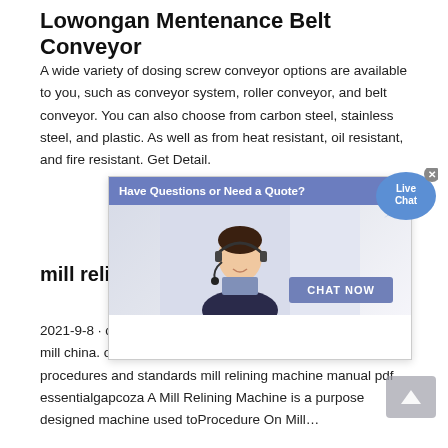Lowongan Mentenance Belt Conveyor
A wide variety of dosing screw conveyor options are available to you, such as conveyor system, roller conveyor, and belt conveyor. You can also choose from carbon steel, stainless steel, and plastic. As well as from heat resistant, oil resistant, and fire resistant. Get Detail.
[Figure (screenshot): Chat popup overlay with 'Have Questions or Need a Quote?' header, photo of a customer service representative with headset, and a 'CHAT NOW' button. Also a 'Live Chat' speech bubble icon in the top-right corner.]
mill relining procedures and standards
2021-9-8 · cone gyrating crusher reline procedure grinding mill china. ore crushing mill relining janudemanl mill relining procedures and standards mill relining machine manual pdf essentialgapcoza A Mill Relining Machine is a purpose designed machine used toProcedure On Mill…